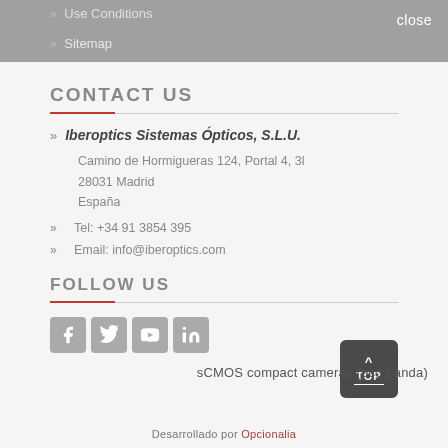Use Conditions  close
Sitemap
CONTACT US
Iberoptics Sistemas Ópticos, S.L.U.
Camino de Hormigueras 124, Portal 4, 3l
28031 Madrid
España
Tel: +34 91 3854 395
Email: info@iberoptics.com
FOLLOW US
[Figure (other): Social media icons: Facebook, Twitter, YouTube, LinkedIn]
sCMOS compact cameras (pco.panda)
Desarrollado por Opcionalia